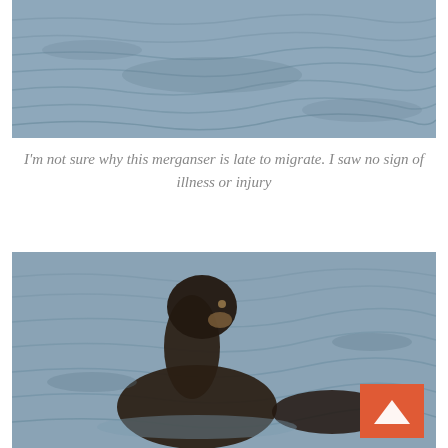[Figure (photo): Close-up photo of rippling water surface with bluish-grey tones, top portion of a merganser duck scene.]
I'm not sure why this merganser is late to migrate. I saw no sign of illness or injury
[Figure (photo): Photo of a merganser duck swimming on rippled water, viewed from behind/side, with an orange scroll-to-top button in the bottom right corner.]